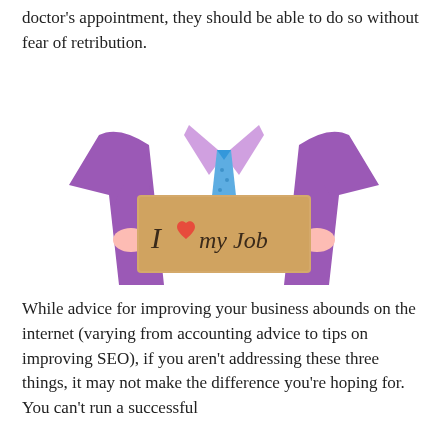doctor's appointment, they should be able to do so without fear of retribution.
[Figure (photo): A person in a purple shirt and blue tie holding a cardboard sign that reads 'I ♥ my Job' with a red heart]
While advice for improving your business abounds on the internet (varying from accounting advice to tips on improving SEO), if you aren't addressing these three things, it may not make the difference you're hoping for. You can't run a successful